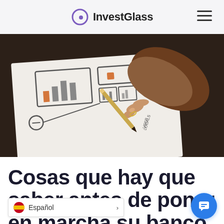InvestGlass
[Figure (photo): A person's hand holding a pencil drawing a UI wireframe/flowchart on paper on a dark desk surface. The paper shows sketched boxes, bars, and interface elements in black lines with orange accents.]
Cosas que hay que saber antes de poner en marcha su banco